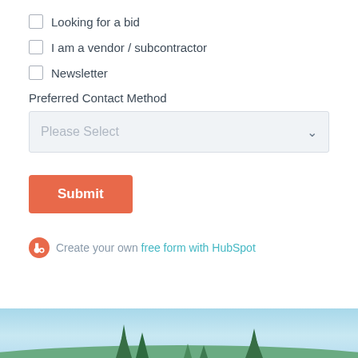Looking for a bid
I am a vendor / subcontractor
Newsletter
Preferred Contact Method
Please Select
Submit
Create your own free form with HubSpot
[Figure (photo): Landscape photo showing evergreen trees against a blue sky, partially visible at the bottom of the page]